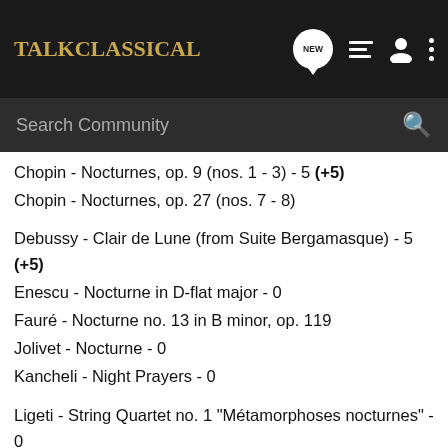Talk Classical - Search Community
Chopin - Nocturnes, op. 9 (nos. 1 - 3) - 5 (+5)
Chopin - Nocturnes, op. 27 (nos. 7 - 8)
Debussy - Clair de Lune (from Suite Bergamasque) - 5 (+5)
Enescu - Nocturne in D-flat major - 0
Fauré - Nocturne no. 13 in B minor, op. 119
Jolivet - Nocturne - 0
Kancheli - Night Prayers - 0
Ligeti - String Quartet no. 1 "Métamorphoses nocturnes" - 0
Martinů - Musique de Chambre no. 1 "Les fêtes nocturnes"
Paganini - Notturno No. 3 - 0
Rachmaninov - Nocturne no. 1 in F-sharp minor - 0
Sarasate - Nocturne-serenade, op. 45 - 0